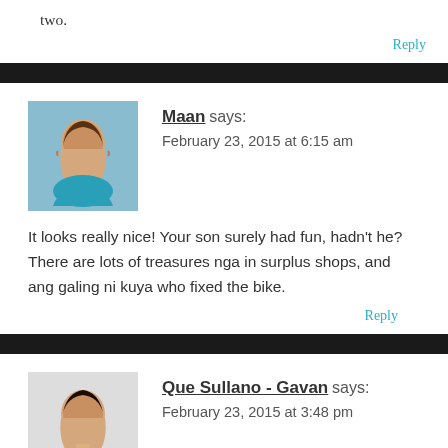two.
Reply
Maan says:
February 23, 2015 at 6:15 am
It looks really nice! Your son surely had fun, hadn't he? There are lots of treasures nga in surplus shops, and ang galing ni kuya who fixed the bike.
Reply
Que Sullano - Gavan says:
February 23, 2015 at 3:48 pm
This is so nice! one way of taking and making them love the